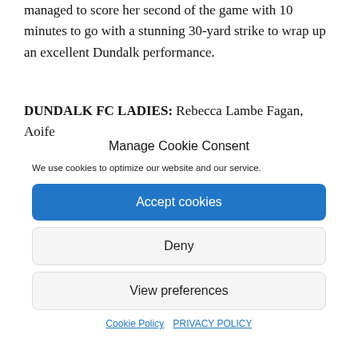managed to score her second of the game with 10 minutes to go with a stunning 30-yard strike to wrap up an excellent Dundalk performance.
DUNDALK FC LADIES: Rebecca Lambe Fagan, Aoife
Manage Cookie Consent
We use cookies to optimize our website and our service.
Accept cookies
Deny
View preferences
Cookie Policy   PRIVACY POLICY